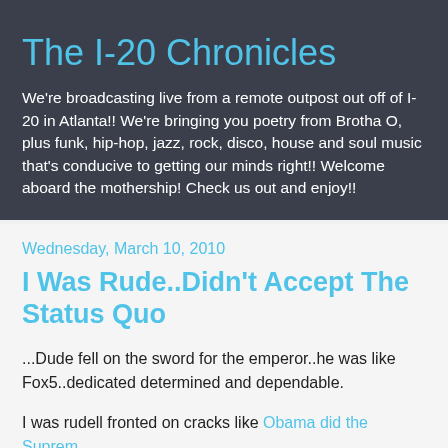The I-20 Chronicles
We're broadcasting live from a remote outpost out off of I-20 in Atlanta!! We're bringing you poetry from Brotha O, plus funk, hip-hop, jazz, rock, disco, house and soul music that's conducive to getting our minds right!! Welcome aboard the mothership! Check us out and enjoy!!
Wednesday, March 10, 2010
I Was Rude..Didn't Accept The Status Quo
...Dude fell on the sword for the emperor..he was like Fox5..dedicated determined and dependable.
I was rudell fronted on cracks like Obama did the Supra...